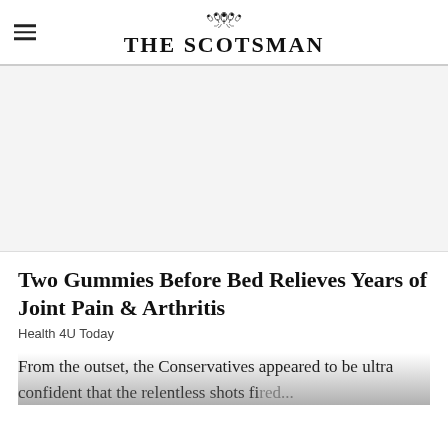THE SCOTSMAN
[Figure (other): Advertisement placeholder area (grey background)]
Two Gummies Before Bed Relieves Years of Joint Pain & Arthritis
Health 4U Today
From the outset, the Conservatives appeared to be ultra confident that the relentless shots fired at...